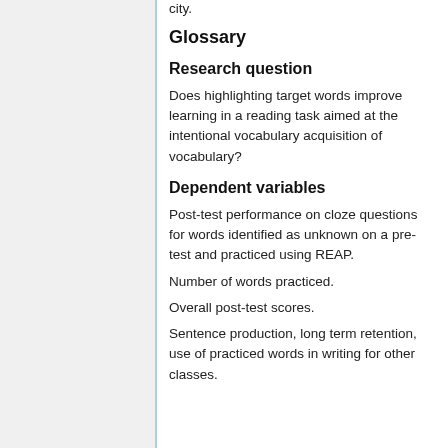city.
Glossary
Research question
Does highlighting target words improve learning in a reading task aimed at the intentional vocabulary acquisition of vocabulary?
Dependent variables
Post-test performance on cloze questions for words identified as unknown on a pre-test and practiced using REAP.
Number of words practiced.
Overall post-test scores.
Sentence production, long term retention, use of practiced words in writing for other classes.